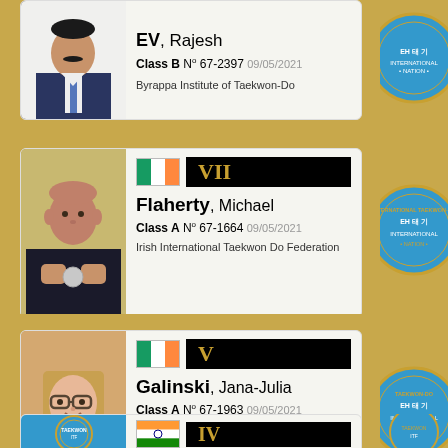[Figure (other): Partial card at top: man in suit photo, name EV Rajesh, Class B No 67-2397 09/05/2021, Byrappa Institute of Taekwon-Do]
[Figure (other): ITF International Taekwon-Do logo circle, partial right side, top]
[Figure (other): Card: Ireland flag, VII black badge, Flaherty Michael, Class A No 67-1664 09/05/2021, Irish International Taekwon Do Federation]
[Figure (other): ITF International Taekwon-Do logo circle, right side, second entry]
[Figure (other): Card: Ireland flag, V black badge, Galinski Jana-Julia, Class A No 67-1963 09/05/2021, Irish International Taekwon Do Federation]
[Figure (other): ITF International Taekwon-Do logo circle, right side, third entry]
[Figure (other): Partial card at bottom: ITF logo as photo, India flag, IV black badge]
[Figure (other): ITF International Taekwon-Do logo circle, right side, fourth entry partial]